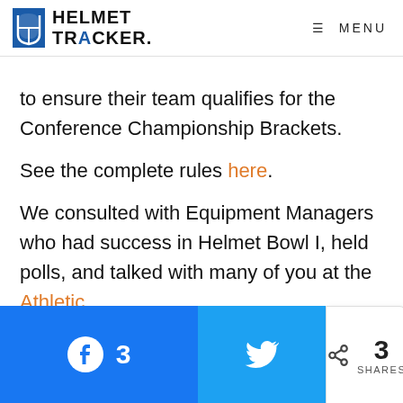HELMET TRACKER  ≡ MENU
to ensure their team qualifies for the Conference Championship Brackets.
See the complete rules here.
We consulted with Equipment Managers who had success in Helmet Bowl I, held polls, and talked with many of you at the Athletic
[Figure (infographic): Social share bar with Facebook button showing 3, Twitter button, and share count of 3 SHARES]